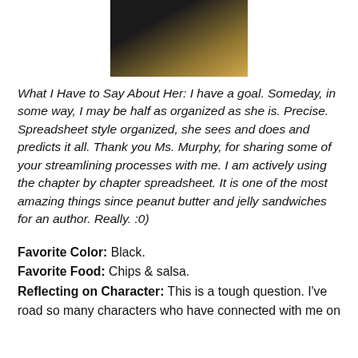[Figure (photo): Partial photo of a person wearing a dark top against a hay/straw background, cropped at the top of the page.]
What I Have to Say About Her: I have a goal. Someday, in some way, I may be half as organized as she is. Precise. Spreadsheet style organized, she sees and does and predicts it all. Thank you Ms. Murphy, for sharing some of your streamlining processes with me. I am actively using the chapter by chapter spreadsheet. It is one of the most amazing things since peanut butter and jelly sandwiches for an author. Really. :0)
Favorite Color: Black.
Favorite Food: Chips & salsa.
Reflecting on Character: This is a tough question. I've road so many characters who have connected with me on